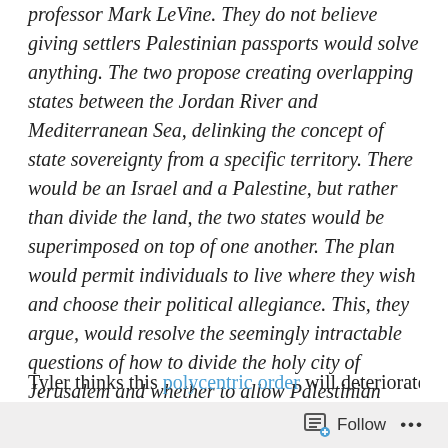professor Mark LeVine. They do not believe giving settlers Palestinian passports would solve anything. The two propose creating overlapping states between the Jordan River and Mediterranean Sea, delinking the concept of state sovereignty from a specific territory. There would be an Israel and a Palestine, but rather than divide the land, the two states would be superimposed on top of one another. The plan would permit individuals to live where they wish and choose their political allegiance. This, they argue, would resolve the seemingly intractable questions of how to divide the holy city of Jerusalem and whether to allow Palestinian refugees “the right of return” to their old communities.
Tyler thinks this polycentric order will deteriorate for lack of
Follow ...